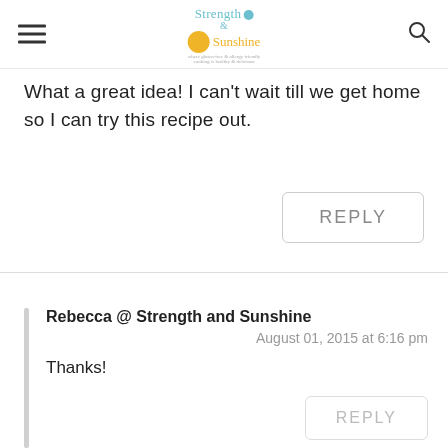Strength & Sunshine
What a great idea! I can't wait till we get home so I can try this recipe out.
REPLY
Rebecca @ Strength and Sunshine
August 01, 2015 at 6:16 pm
Thanks!
REPLY